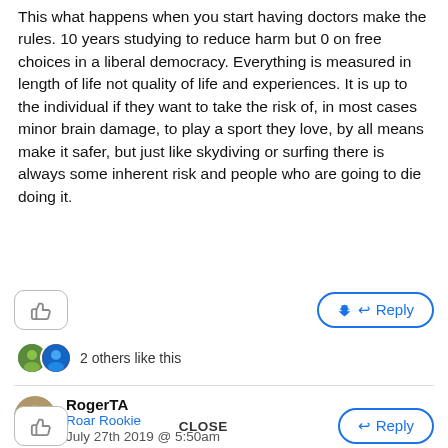This what happens when you start having doctors make the rules. 10 years studying to reduce harm but 0 on free choices in a liberal democracy. Everything is measured in length of life not quality of life and experiences. It is up to the individual if they want to take the risk of, in most cases minor brain damage, to play a sport they love, by all means make it safer, but just like skydiving or surfing there is always some inherent risk and people who are going to die doing it.
2 others like this
RogerTA
Roar Rookie
July 27th 2019 @ 5:50am
And yet ex-players in many sports are sueing. Go figure...